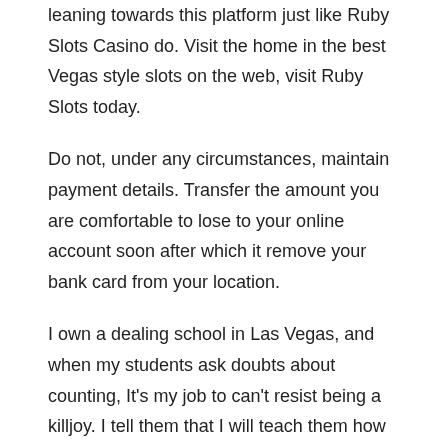leaning towards this platform just like Ruby Slots Casino do. Visit the home in the best Vegas style slots on the web, visit Ruby Slots today.
Do not, under any circumstances, maintain payment details. Transfer the amount you are comfortable to lose to your online account soon after which it remove your bank card from your location.
I own a dealing school in Las Vegas, and when my students ask doubts about counting, It's my job to can't resist being a killjoy. I tell them that I will teach them how to count cards in about five minutes and however do that. They are completely unimpressed. So before I have Online casino into more card counting myths, please allow me to perceived as killjoy for you, like you were among the list of students at my Las Vegas dealer school, so you may be unimpressed .
Take advantage of some Free Casino Poker Lessons in the casino